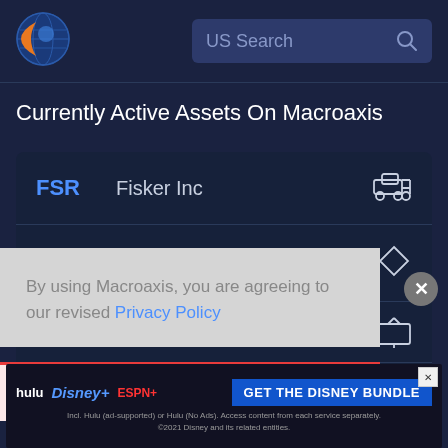[Figure (logo): Macroaxis globe logo - orange and blue circular icon]
US Search
Currently Active Assets On Macroaxis
| Ticker | Company | Icon |
| --- | --- | --- |
| FSR | Fisker Inc | truck icon |
| IONR | Ioneer Ltd American | diamond icon |
By using Macroaxis, you are agreeing to our revised Privacy Policy
OK
[Figure (screenshot): Disney Bundle advertisement banner showing Hulu, Disney+, ESPN+ logos with GET THE DISNEY BUNDLE CTA button. Fine print: Incl. Hulu (ad-supported) or Hulu (No Ads). Access content from each service separately. ©2021 Disney and its related entities.]